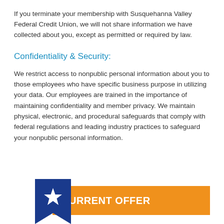If you terminate your membership with Susquehanna Valley Federal Credit Union, we will not share information we have collected about you, except as permitted or required by law.
Confidentiality & Security:
We restrict access to nonpublic personal information about you to those employees who have specific business purpose in utilizing your data. Our employees are trained in the importance of maintaining confidentiality and member privacy. We maintain physical, electronic, and procedural safeguards that comply with federal regulations and leading industry practices to safeguard your nonpublic personal information.
[Figure (illustration): Blue bookmark ribbon shape with a white star, partially overlapping an orange banner bar reading CURRENT OFFER in white bold text.]